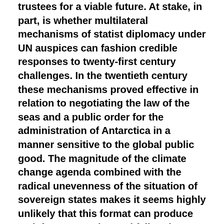trustees for a viable future. At stake, in part, is whether multilateral mechanisms of statist diplomacy under UN auspices can fashion credible responses to twenty-first century challenges. In the twentieth century these mechanisms proved effective in relation to negotiating the law of the seas and a public order for the administration of Antarctica in a manner sensitive to the global public good. The magnitude of the climate change agenda combined with the radical unevenness of the situation of sovereign states makes it seems highly unlikely that this format can produce satisfactory results, and failure here could darken overall human prospects.
There is much to be said about the Cancun experience, but I want primarily to call attention to a profound dilemma that bedevils the good intentions